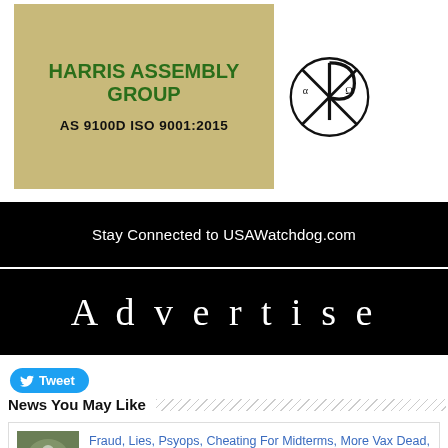[Figure (logo): Harris Assembly Group banner with tan/khaki background showing company name in green bold text, certification 'AS 9100D ISO 9001:2015' in black, alongside a Chi-Rho religious symbol in a circle]
[Figure (infographic): Black banner reading 'Stay Connected to USAWatchdog.com' in white text]
[Figure (infographic): Black banner reading 'Advertise' in white serif text with letter spacing]
[Figure (other): Blue Tweet button with Twitter bird icon]
News You May Like
[Figure (photo): Thumbnail image of an eagle with American flag design]
Fraud, Lies, Psyops, Cheating For Midterms, More Vax Dead, More War